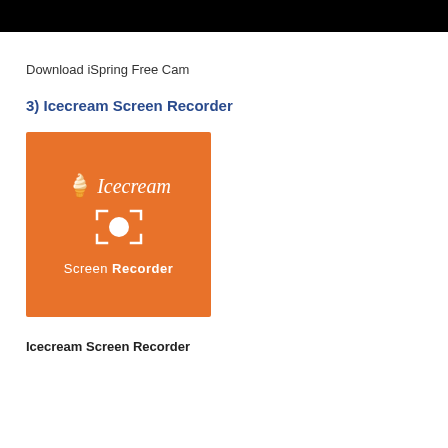[Figure (screenshot): Black bar at the top of the page, partial screenshot of software interface]
Download iSpring Free Cam
3) Icecream Screen Recorder
[Figure (logo): Icecream Screen Recorder logo on orange background with ice cream emoji, camera/record icon, and text 'Screen Recorder']
Icecream Screen Recorder